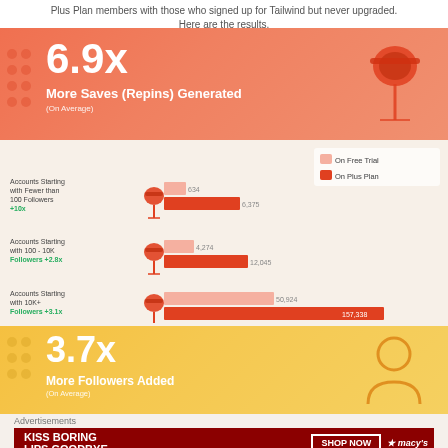Plus Plan members with those who signed up for Tailwind but never upgraded. Here are the results.
[Figure (infographic): Orange banner with 6.9x More Saves (Repins) Generated (On Average) and a pushpin icon]
[Figure (bar-chart): Saves/Repins by follower segment]
[Figure (infographic): Yellow/gold banner with 3.7x More Followers Added (On Average) and a person/user icon]
Advertisements
[Figure (photo): Macy's advertisement: KISS BORING LIPS GOODBYE with SHOP NOW button and Macy's logo]